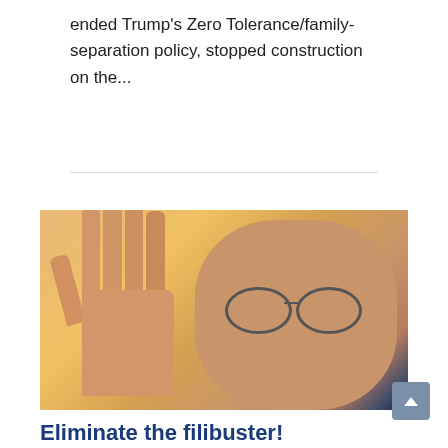ended Trump's Zero Tolerance/family-separation policy, stopped construction on the...
[Figure (photo): A man raising his hand with glasses, photographed from below against a yellow background]
Eliminate the filibuster!